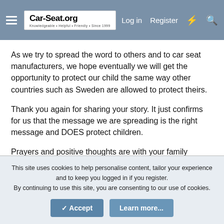Car-Seat.org — Log in  Register
As we try to spread the word to others and to car seat manufacturers, we hope eventually we will get the opportunity to protect our child the same way other countries such as Sweden are allowed to protect theirs.
Thank you again for sharing your story. It just confirms for us that the message we are spreading is the right message and DOES protect children.
Prayers and positive thoughts are with your family
Andie
New member
This site uses cookies to help personalise content, tailor your experience and to keep you logged in if you register.
By continuing to use this site, you are consenting to our use of cookies.